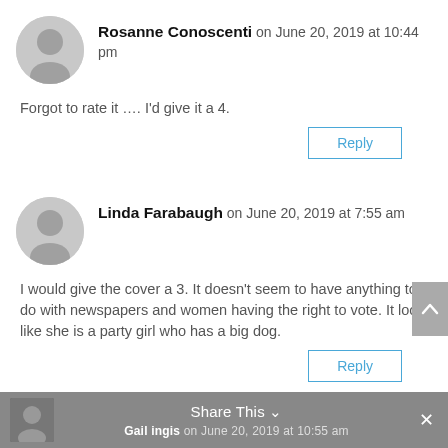Rosanne Conoscenti on June 20, 2019 at 10:44 pm
Forgot to rate it …. I'd give it a 4.
Reply
Linda Farabaugh on June 20, 2019 at 7:55 am
I would give the cover a 3. It doesn't seem to have anything to do with newspapers and women having the right to vote. It looks like she is a party girl who has a big dog.
Reply
Share This
Gail ingis on June 20, 2019 at 10:55 am